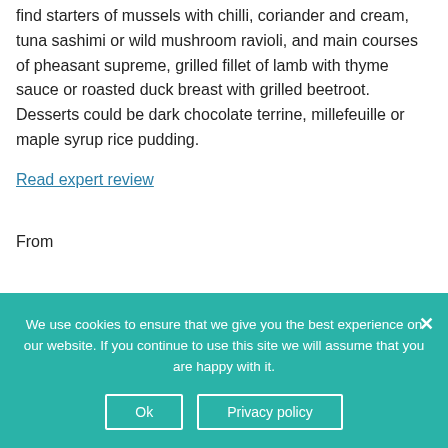find starters of mussels with chilli, coriander and cream, tuna sashimi or wild mushroom ravioli, and main courses of pheasant supreme, grilled fillet of lamb with thyme sauce or roasted duck breast with grilled beetroot. Desserts could be dark chocolate terrine, millefeuille or maple syrup rice pudding.
Read expert review
From
We use cookies to ensure that we give you the best experience on our website. If you continue to use this site we will assume that you are happy with it.
Ok
Privacy policy